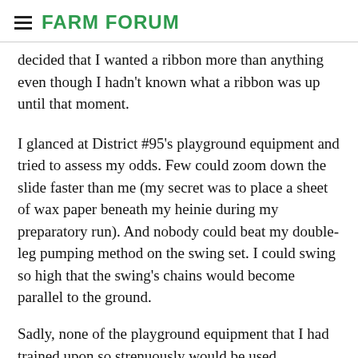FARM FORUM
decided that I wanted a ribbon more than anything even though I hadn't known what a ribbon was up until that moment.
I glanced at District #95's playground equipment and tried to assess my odds. Few could zoom down the slide faster than me (my secret was to place a sheet of wax paper beneath my heinie during my preparatory run). And nobody could beat my double-leg pumping method on the swing set. I could swing so high that the swing's chains would become parallel to the ground.
Sadly, none of the playground equipment that I had trained upon so strenuously would be used